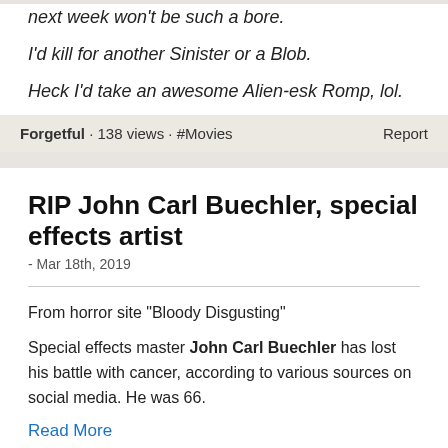next week won't be such a bore.
I'd kill for another Sinister or a Blob.
Heck I'd take an awesome Alien-esk Romp, lol.
Forgetful · 138 views · #Movies    Report
RIP John Carl Buechler, special effects artist
- Mar 18th, 2019
From horror site "Bloody Disgusting"
Special effects master John Carl Buechler has lost his battle with cancer, according to various sources on social media. He was 66.
Read More
StubobNumbers · 137 views · #movies    Report